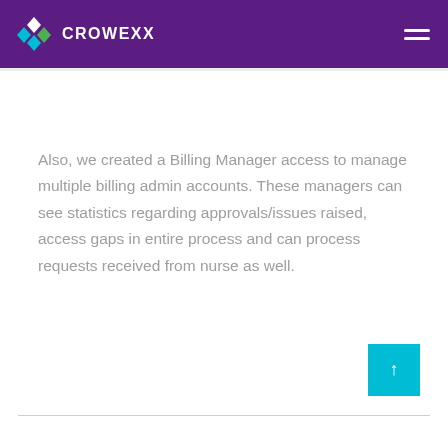CROWEXX
Also, we created a Billing Manager access to manage multiple billing admin accounts. These managers can see statistics regarding approvals/issues raised, access gaps in entire process and can process requests received from nurse as well.